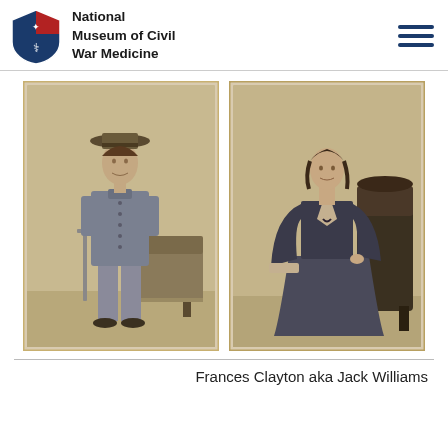National Museum of Civil War Medicine
[Figure (photo): Two side-by-side sepia-toned carte-de-visite photographs. Left: Frances Clayton dressed in Union soldier uniform with wide-brimmed hat, holding a sword, standing beside a decorative settee. Right: Frances Clayton in full Victorian dress (as a woman), standing beside an ornate chair.]
Frances Clayton aka Jack Williams